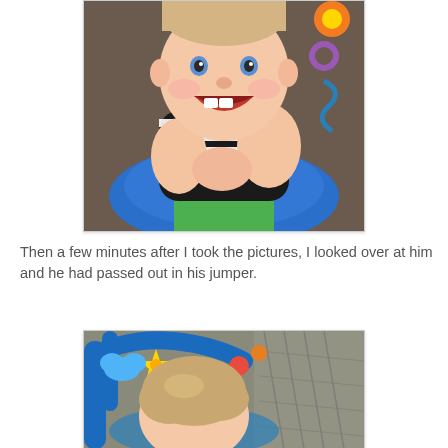[Figure (photo): Close-up photo of a smiling baby in a blue jumper/bouncer seat, wearing a black and white striped shirt. The baby has a big grin showing teeth. Colorful toys are visible in the background.]
Then a few minutes after I took the pictures, I looked over at him and he had passed out in his jumper.
[Figure (photo): Photo of the top of a baby's head slumped forward asleep in a colorful jumper with blue plastic frame and hanging toys including a yellow star. A chain-link fence is visible in the background.]